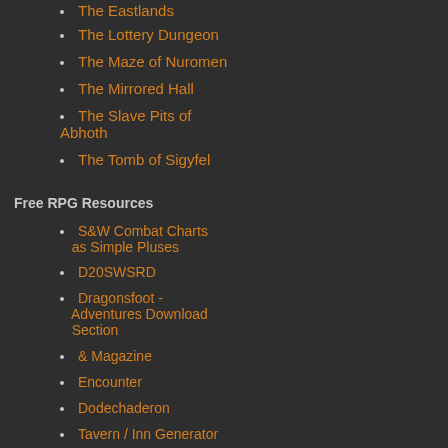The Eastlands
The Lottery Dungeon
The Maze of Nuromen
The Mirrored Hall
The Slave Pits of Abhoth
The Tomb of Sigyfel
Free RPG Resources
S&W Combat Charts as Simple Pluses
D20SWSRD
Dragonsfoot - Adventures Download Section
& Magazine
Encounter
Dodechaderon
Tavern / Inn Generator
Wizard Dawn
Mithril & Mages
DCC RPG
Newer Post
Subscribe to: Post Comments (
Tenkar's Tavern is supported b... and Humble Bundle as well as lights on and the taps flowing.
Blogs of Inspiration & Erudition
Swords & Stitchery - Old T...
A Piece of The Martian Action... The White Star rpg - Today is... Science Fiction & OSR gami...
7 minutes ago
Halls of the Nephilim
The Craptacular B-Sides - La... ends that strike my fancy. Oc...
2 hours ago
The Other Side blog
#RPGaDAY2022 Day 30...